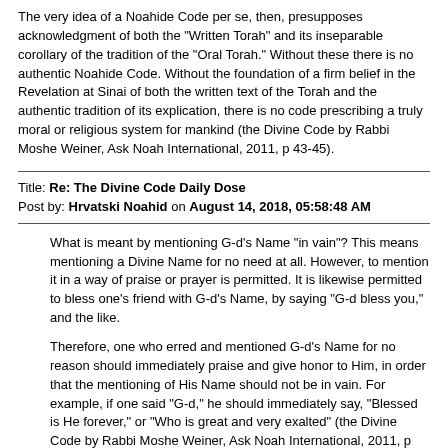The very idea of a Noahide Code per se, then, presupposes acknowledgment of both the "Written Torah" and its inseparable corollary of the tradition of the "Oral Torah." Without these there is no authentic Noahide Code. Without the foundation of a firm belief in the Revelation at Sinai of both the written text of the Torah and the authentic tradition of its explication, there is no code prescribing a truly moral or religious system for mankind (the Divine Code by Rabbi Moshe Weiner, Ask Noah International, 2011, p 43-45).
Title: Re: The Divine Code Daily Dose
Post by: Hrvatski Noahid on August 14, 2018, 05:58:48 AM
What is meant by mentioning G-d's Name "in vain"? This means mentioning a Divine Name for no need at all. However, to mention it in a way of praise or prayer is permitted. It is likewise permitted to bless one's friend with G-d's Name, by saying "G-d bless you," and the like.
Therefore, one who erred and mentioned G-d's Name for no reason should immediately praise and give honor to Him, in order that the mentioning of His Name should not be in vain. For example, if one said "G-d," he should immediately say, "Blessed is He forever," or "Who is great and very exalted" (the Divine Code by Rabbi Moshe Weiner, Ask Noah International, 2011, p 270-271).
Title: Re: The Divine Code Daily Dose